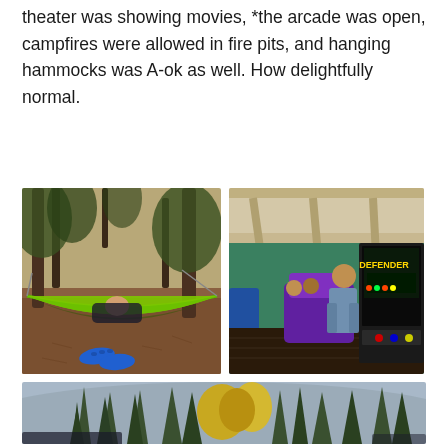theater was showing movies, *the arcade was open, campfires were allowed in fire pits, and hanging hammocks was A-ok as well. How delightfully normal.
[Figure (photo): Child lying in a bright green hammock strung between trees in a forested area with pine needles on the ground and blue crocs/sandals visible below]
[Figure (photo): People playing arcade games in an outdoor covered arcade area with colorful machines including a Defender arcade cabinet]
[Figure (photo): View of tall pine and deciduous trees against the sky, partially cropped at bottom of page]